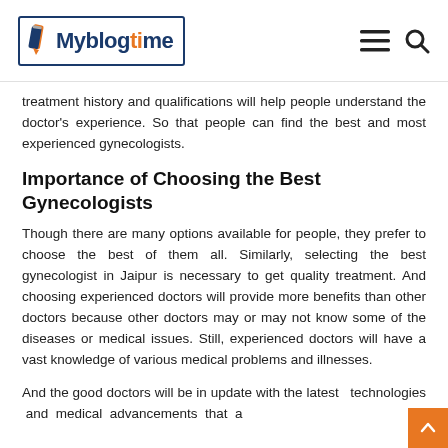Myblogtime
treatment history and qualifications will help people understand the doctor’s experience. So that people can find the best and most experienced gynecologists.
Importance of Choosing the Best Gynecologists
Though there are many options available for people, they prefer to choose the best of them all. Similarly, selecting the best gynecologist in Jaipur is necessary to get quality treatment. And choosing experienced doctors will provide more benefits than other doctors because other doctors may or may not know some of the diseases or medical issues. Still, experienced doctors will have a vast knowledge of various medical problems and illnesses.
And the good doctors will be in update with the latest technologies and medical advancements that a